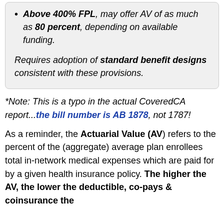Above 400% FPL, may offer AV of as much as 80 percent, depending on available funding.
Requires adoption of standard benefit designs consistent with these provisions.
*Note: This is a typo in the actual CoveredCA report...the bill number is AB 1878, not 1787!
As a reminder, the Actuarial Value (AV) refers to the percent of the (aggregate) average plan enrollees total in-network medical expenses which are paid for by a given health insurance policy. The higher the AV, the lower the deductible, co-pays & coinsurance the